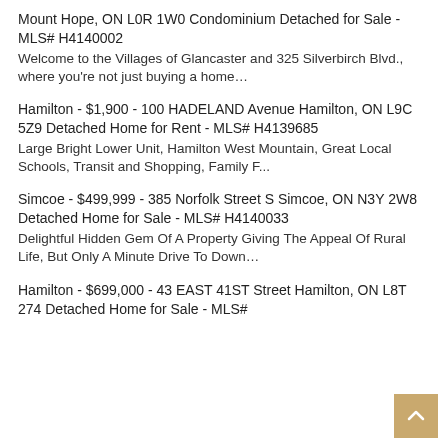Mount Hope, ON L0R 1W0 Condominium Detached for Sale - MLS# H4140002
Welcome to the Villages of Glancaster and 325 Silverbirch Blvd., where you're not just buying a home…
Hamilton - $1,900 - 100 HADELAND Avenue Hamilton, ON L9C 5Z9 Detached Home for Rent - MLS# H4139685
Large Bright Lower Unit, Hamilton West Mountain, Great Local Schools, Transit and Shopping, Family F...
Simcoe - $499,999 - 385 Norfolk Street S Simcoe, ON N3Y 2W8 Detached Home for Sale - MLS# H4140033
Delightful Hidden Gem Of A Property Giving The Appeal Of Rural Life, But Only A Minute Drive To Down…
Hamilton - $699,000 - 43 EAST 41ST Street Hamilton, ON L8T 274 Detached Home for Sale - MLS#